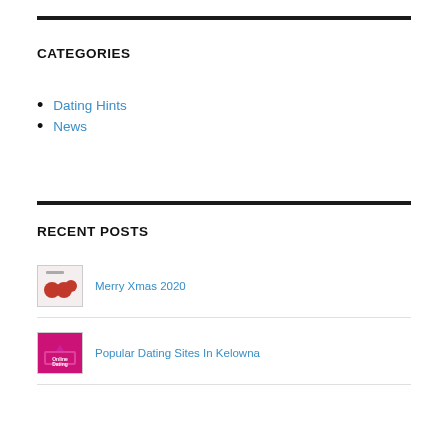CATEGORIES
Dating Hints
News
RECENT POSTS
Merry Xmas 2020
Popular Dating Sites In Kelowna